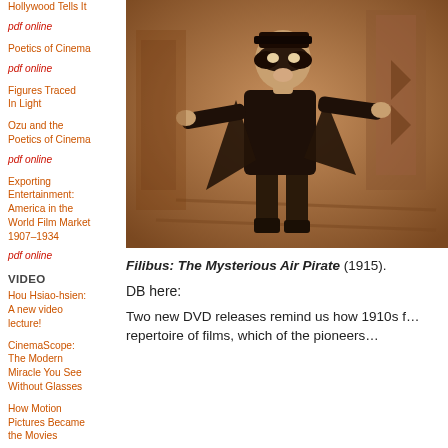Hollywood Tells It
pdf online
Poetics of Cinema
pdf online
Figures Traced In Light
Ozu and the Poetics of Cinema
pdf online
Exporting Entertainment: America in the World Film Market 1907–1934
pdf online
VIDEO
Hou Hsiao-hsien: A new video lecture!
CinemaScope: The Modern Miracle You See Without Glasses
How Motion Pictures Became the Movies
Constructive editing in Pickpocket: A video essay
ESSAYS
Rex Stout: Larcenymachining
[Figure (photo): Sepia-toned still from the 1915 film Filibus: The Mysterious Air Pirate showing a masked figure in dark costume with arms outstretched in a theatrical pose, set against an ornate background.]
Filibus: The Mysterious Air Pirate (1915).
DB here:
Two new DVD releases remind us how 1910s f… repertoire of films, which of the pioneers…